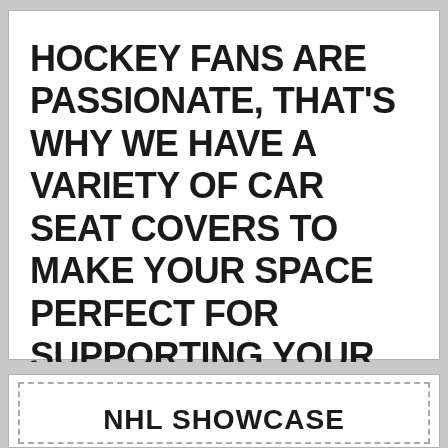HOCKEY FANS ARE PASSIONATE, THAT'S WHY WE HAVE A VARIETY OF CAR SEAT COVERS TO MAKE YOUR SPACE PERFECT FOR SUPPORTING YOUR TEAM
NHL SHOWCASE